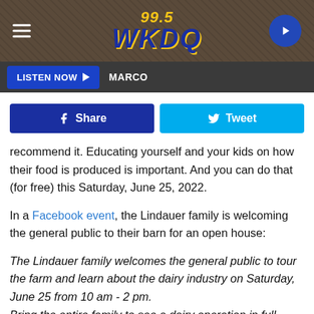[Figure (logo): 99.5 WKDQ radio station logo on textured brown background with hamburger menu icon on left and play button on right]
LISTEN NOW ▶  MARCO
[Figure (other): Facebook Share button and Twitter Tweet button]
recommend it. Educating yourself and your kids on how their food is produced is important. And you can do that (for free) this Saturday, June 25, 2022.
In a Facebook event, the Lindauer family is welcoming the general public to their barn for an open house:
The Lindauer family welcomes the general public to tour the farm and learn about the dairy industry on Saturday, June 25 from 10 am - 2 pm.
Bring the entire family to see a dairy operation in full swing and enjoy some kid's activities including a corn pit, interactive activities in our observation room, and free pizza &